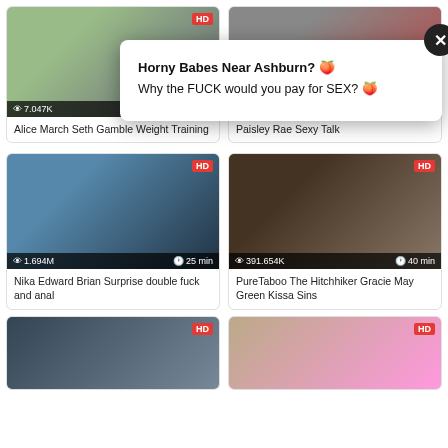[Figure (screenshot): Video thumbnail card top-left: Alice March Seth Gamble Weight Training, 7.047K views, 24 min, HD badge]
Alice March Seth Gamble Weight Training
[Figure (screenshot): Video thumbnail card top-right: Paisley Rae Sexy Talk, 803.639K views, 19 min]
Paisley Rae Sexy Talk
[Figure (screenshot): Ad popup overlay: Horny Babes Near Ashburn? Why the FUCK would you pay for SEX? with close button]
Horny Babes Near Ashburn? 🍑
Why the FUCK would you pay for SEX? 🍑
[Figure (screenshot): Video thumbnail card middle-left: Nika Edward Brian Surprise double fuck and anal, 1.694M views, 25 min, HD]
Nika Edward Brian Surprise double fuck and anal
[Figure (screenshot): Video thumbnail card middle-right: PureTaboo The Hitchhiker Gracie May Green Kissa Sins, 391.654K views, 40 min, HD]
PureTaboo The Hitchhiker Gracie May Green Kissa Sins
[Figure (screenshot): Video thumbnail bottom-left partial, HD badge]
[Figure (screenshot): Video thumbnail bottom-right partial, HD badge]